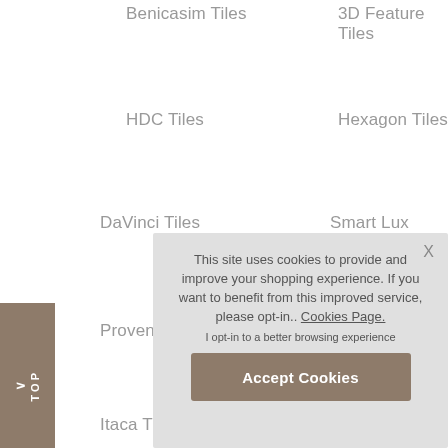Benicasim Tiles
3D Feature Tiles
HDC Tiles
Hexagon Tiles
DaVinci Tiles
Smart Lux Tiles
Provenza
Itaca Til
This site uses cookies to provide and improve your shopping experience. If you want to benefit from this improved service, please opt-in.. Cookies Page.
I opt-in to a better browsing experience
Accept Cookies
TOP